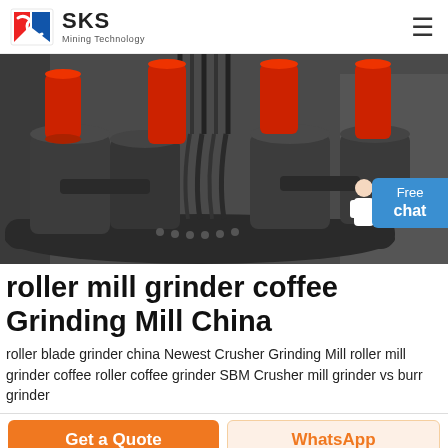SKS Mining Technology
[Figure (photo): Industrial roller mill grinder machinery with red and dark grey cylindrical components and hydraulic hoses.]
roller mill grinder coffee Grinding Mill China
roller blade grinder china Newest Crusher Grinding Mill roller mill grinder coffee roller coffee grinder SBM Crusher mill grinder vs burr grinder
Get a Quote
WhatsApp